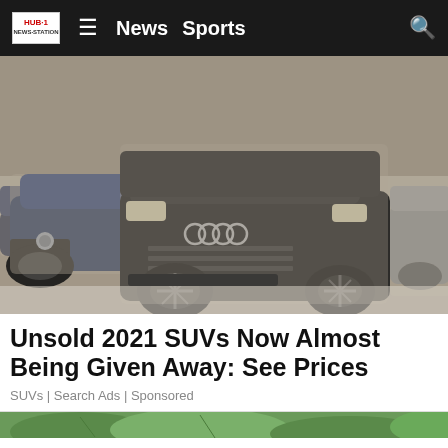HUB-1 News Sports [search icon]
[Figure (photo): Several dusty SUVs (including an Audi Q7 and BMW X5) parked in a covered lot, covered in dust/snow.]
Unsold 2021 SUVs Now Almost Being Given Away: See Prices
SUVs | Search Ads | Sponsored
[Figure (photo): Partial view of a green plant background, bottom of page.]